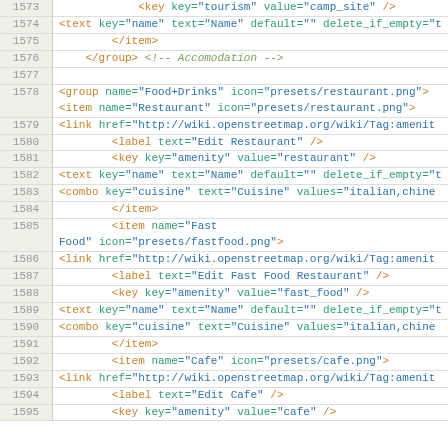Code listing lines 1573-1595 showing XML preset configuration for OpenStreetMap editor with Food+Drinks group including Restaurant, Fast Food, and Cafe items